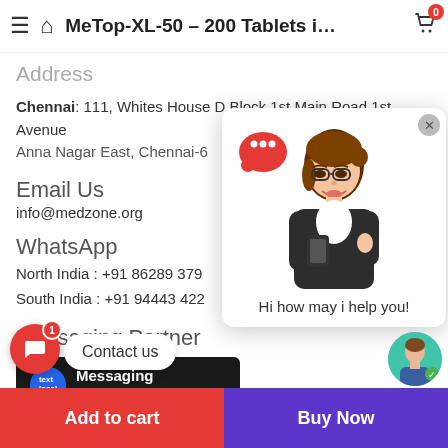MeTop-XL-50 – 200 Tablets i…
Address
Chennai: 111, Whites House D Block 1st Main Road 1st Avenue
Anna Nagar East, Chennai-6
Email Us
info@medzone.org
WhatsApp
North India : +91 86289 379
South India : +91 94443 422
Messaging Partner
[Figure (logo): TextLocal messaging partner button with blue circular logo and white text on black background]
[Figure (illustration): Chat popup overlay showing animated female avatar holding phone with red speech bubble, and text 'Hi how may i help you!']
Hi how may i help you!
Contact us
Add to cart
Buy Now